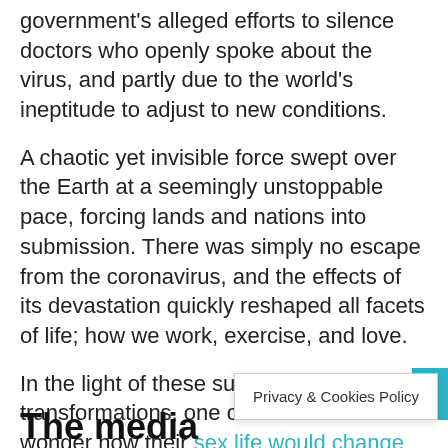government's alleged efforts to silence doctors who openly spoke about the virus, and partly due to the world's ineptitude to adjust to new conditions.
A chaotic yet invisible force swept over the Earth at a seemingly unstoppable pace, forcing lands and nations into submission. There was simply no escape from the coronavirus, and the effects of its devastation quickly reshaped all facets of life; how we work, exercise, and love.
In the light of these sudden transformations, one could start to wonder how their sex life would change over the course of the pandemic.
The media
Privacy & Cookies Policy